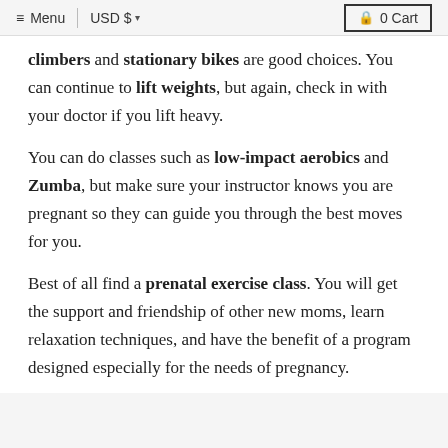≡ Menu  |  USD $  ▾  0 Cart
climbers and stationary bikes are good choices. You can continue to lift weights, but again, check in with your doctor if you lift heavy.
You can do classes such as low-impact aerobics and Zumba, but make sure your instructor knows you are pregnant so they can guide you through the best moves for you.
Best of all find a prenatal exercise class. You will get the support and friendship of other new moms, learn relaxation techniques, and have the benefit of a program designed especially for the needs of pregnancy.